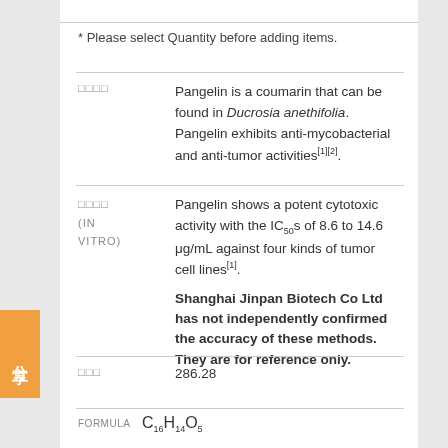* Please select Quantity before adding items.
□□□□   Pangelin is a coumarin that can be found in Ducrosia anethifolia. Pangelin exhibits anti-mycobacterial and anti-tumor activities[1][2].
□□□□ (IN VITRO)   Pangelin shows a potent cytotoxic activity with the IC50s of 8.6 to 14.6 μg/mL against four kinds of tumor cell lines[1]. Shanghai Jinpan Biotech Co Ltd has not independently confirmed the accuracy of these methods. They are for reference only.
□□□   286.28
FORMULA C16H14O5